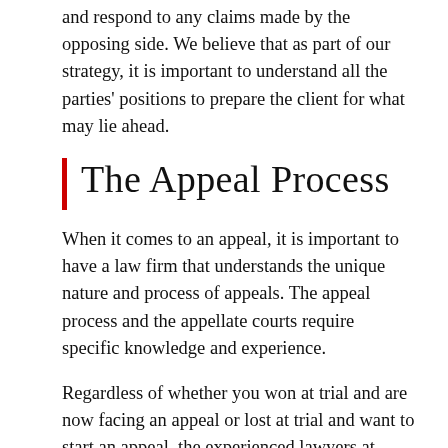and respond to any claims made by the opposing side. We believe that as part of our strategy, it is important to understand all the parties' positions to prepare the client for what may lie ahead.
The Appeal Process
When it comes to an appeal, it is important to have a law firm that understands the unique nature and process of appeals. The appeal process and the appellate courts require specific knowledge and experience.
Regardless of whether you won at trial and are now facing an appeal or lost at trial and want to start an appeal, the experienced lawyers at Zeilikman Law are here to help. Depending on the nature of the decision, a party to the proceeding may have the right to appeal the decision. However, in some cases, that right might not exist, and the parties will first have to obtain leave